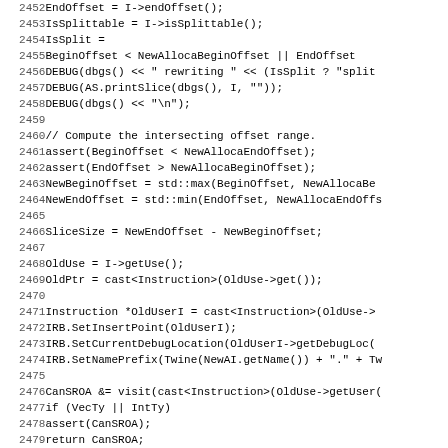Source code listing, lines 2452-2483, C++ code